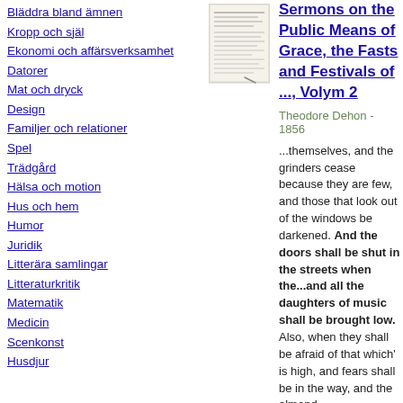Bläddra bland ämnen
Kropp och själ
Ekonomi och affärsverksamhet
Datorer
Mat och dryck
Design
Familjer och relationer
Spel
Trädgård
Hälsa och motion
Hus och hem
Humor
Juridik
Litterära samlingar
Litteraturkritik
Matematik
Medicin
Scenkonst
Husdjur
[Figure (illustration): Small book cover image for Sermons on the Public Means of Grace, the Fasts and Festivals of ..., Volym 2]
Sermons on the Public Means of Grace, the Fasts and Festivals of ..., Volym 2
Theodore Dehon - 1856
...themselves, and the grinders cease because they are few, and those that look out of the windows be darkened. And the doors shall be shut in the streets when the...and all the daughters of music shall be brought low. Also, when they shall be afraid of that which' is high, and fears shall be in the way, and the almond...
Obegränsad förhandsgranskning ·